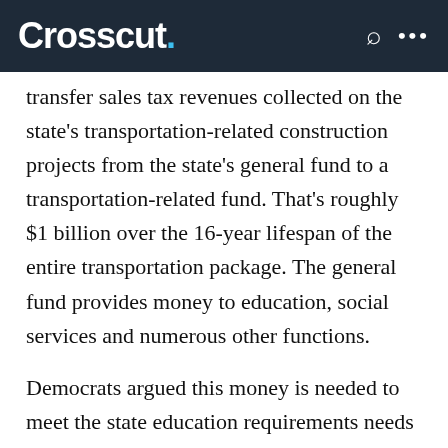Crosscut.
transfer sales tax revenues collected on the state's transportation-related construction projects from the state's general fund to a transportation-related fund. That's roughly $1 billion over the 16-year lifespan of the entire transportation package. The general fund provides money to education, social services and numerous other functions.
Democrats argued this money is needed to meet the state education requirements needs from a 2012 Washington Supreme Court ruling and a 2014 initiative to improve teacher-student ratios in Grades K-12.